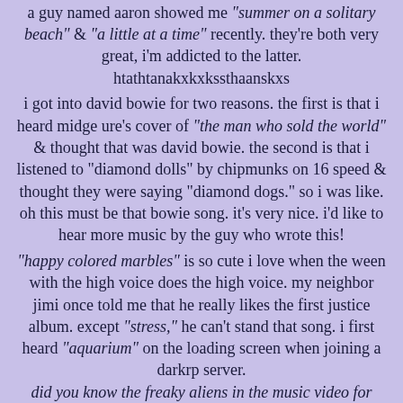a guy named aaron showed me "summer on a solitary beach" & "a little at a time" recently. they're both very great, i'm addicted to the latter. htathtanakxkxkssthaanskxs
i got into david bowie for two reasons. the first is that i heard midge ure's cover of "the man who sold the world" & thought that was david bowie. the second is that i listened to "diamond dolls" by chipmunks on 16 speed & thought they were saying "diamond dogs." so i was like. oh this must be that bowie song. it's very nice. i'd like to hear more music by the guy who wrote this!
"happy colored marbles" is so cute i love when the ween with the high voice does the high voice. my neighbor jimi once told me that he really likes the first justice album. except "stress," he can't stand that song. i first heard "aquarium" on the loading screen when joining a darkrp server. did you know the freaky aliens in the music video for